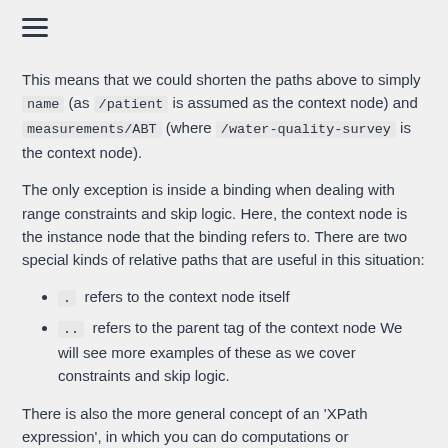This means that we could shorten the paths above to simply name (as /patient is assumed as the context node) and measurements/ABT (where /water-quality-survey is the context node).
The only exception is inside a binding when dealing with range constraints and skip logic. Here, the context node is the instance node that the binding refers to. There are two special kinds of relative paths that are useful in this situation:
. refers to the context node itself
.. refers to the parent tag of the context node We will see more examples of these as we cover constraints and skip logic.
There is also the more general concept of an 'XPath expression', in which you can do computations or comparisons on the values of nodes identified by paths. The details of XPath expressions are an advanced topic we won't cover here, but we use